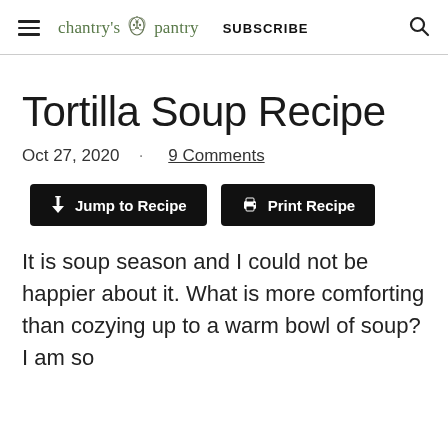chantry's pantry  SUBSCRIBE
Tortilla Soup Recipe
Oct 27, 2020  ·  9 Comments
Jump to Recipe   Print Recipe
It is soup season and I could not be happier about it. What is more comforting than cozying up to a warm bowl of soup? I am so